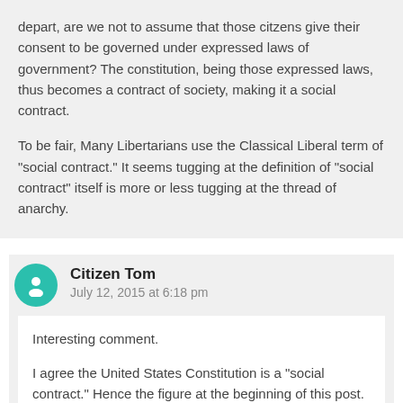depart, are we not to assume that those citzens give their consent to be governed under expressed laws of government? The constitution, being those expressed laws, thus becomes a contract of society, making it a social contract.
To be fair, Many Libertarians use the Classical Liberal term of "social contract." It seems tugging at the definition of "social contract" itself is more or less tugging at the thread of anarchy.
Citizen Tom
July 12, 2015 at 6:18 pm
Interesting comment.
I agree the United States Constitution is a "social contract." Hence the figure at the beginning of this post.